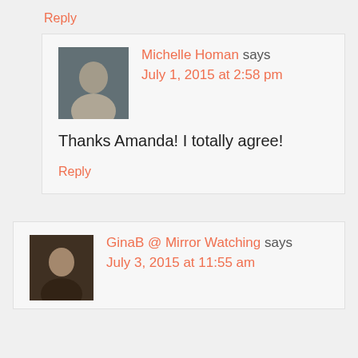Reply
Michelle Homan says
July 1, 2015 at 2:58 pm
Thanks Amanda! I totally agree!
Reply
GinaB @ Mirror Watching says
July 3, 2015 at 11:55 am